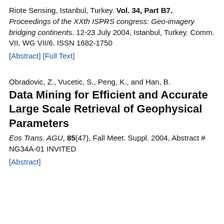Riote Sensing, Istanbul, Turkey. Vol. 34, Part B7. Proceedings of the XXth ISPRS congress: Geo-imagery bridging continents. 12-23 July 2004, Istanbul, Turkey. Comm. VII, WG VII/6. ISSN 1682-1750
[Abstract] [Full Text]
Obradovic, Z., Vucetic, S., Peng, K., and Han, B.
Data Mining for Efficient and Accurate Large Scale Retrieval of Geophysical Parameters
Eos Trans. AGU, 85(47), Fall Meet. Suppl. 2004, Abstract # NG34A-01 INVITED
[Abstract]